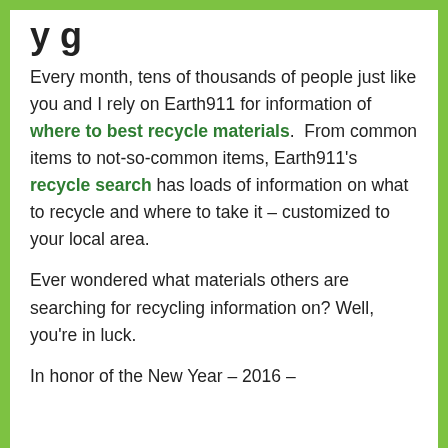y g
Every month, tens of thousands of people just like you and I rely on Earth911 for information of where to best recycle materials. From common items to not-so-common items, Earth911’s recycle search has loads of information on what to recycle and where to take it – customized to your local area.
Ever wondered what materials others are searching for recycling information on? Well, you’re in luck.
In honor of the New Year – 2016 –